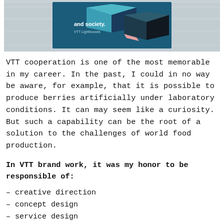[Figure (photo): Top portion of a VTT Lighthouses publication cover showing geometric cube shapes in teal, dark blue, and black on a blue background, with the text 'and society.' and 'VTT Lighthouses'. The image sits on a light grey wooden surface.]
VTT cooperation is one of the most memorable in my career. In the past, I could in no way be aware, for example, that it is possible to produce berries artificially under laboratory conditions. It can may seem like a curiosity. But such a capability can be the root of a solution to the challenges of world food production.
In VTT brand work, it was my honor to be responsible of:
– creative direction
– concept design
– service design
– planning